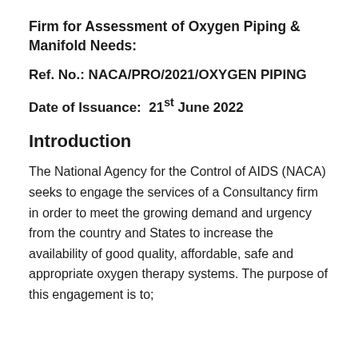Firm for Assessment of Oxygen Piping & Manifold Needs:
Ref. No.: NACA/PRO/2021/OXYGEN PIPING
Date of Issuance: 21st June 2022
Introduction
The National Agency for the Control of AIDS (NACA) seeks to engage the services of a Consultancy firm in order to meet the growing demand and urgency from the country and States to increase the availability of good quality, affordable, safe and appropriate oxygen therapy systems. The purpose of this engagement is to;